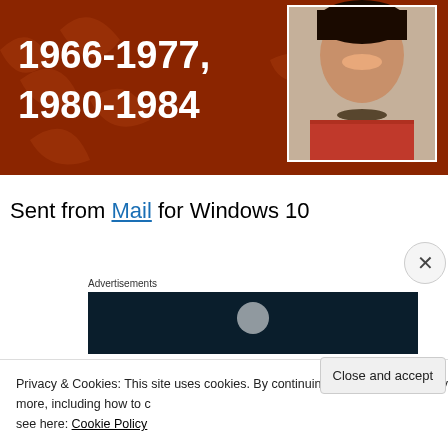[Figure (illustration): Book cover or banner image with orange-brown background, decorative leaf/star pattern, white bold text reading '1966-1977, 1980-1984', and a photo of a woman in a red sari with a necklace, smiling.]
Sent from Mail for Windows 10
Advertisements
[Figure (screenshot): Dark navy blue advertisement banner with a partially visible white circular logo/icon.]
Privacy & Cookies: This site uses cookies. By continuing to use this website, you agree to their use. To find out more, including how to control cookies, see here: Cookie Policy
Close and accept